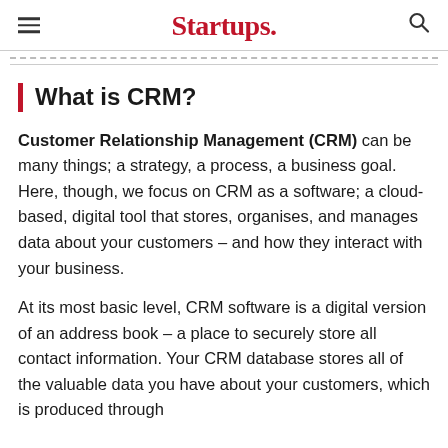Startups.
What is CRM?
Customer Relationship Management (CRM) can be many things; a strategy, a process, a business goal. Here, though, we focus on CRM as a software; a cloud-based, digital tool that stores, organises, and manages data about your customers – and how they interact with your business.
At its most basic level, CRM software is a digital version of an address book – a place to securely store all contact information. Your CRM database stores all of the valuable data you have about your customers, which is produced through